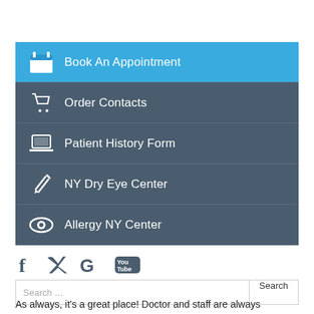Book An Appointment
Order Contacts
Patient History Form
NY Dry Eye Center
Allergy NY Center
[Figure (infographic): Social media icons: Facebook, Twitter, Google, YouTube]
Search ...
As always, it's a great place! Doctor and staff are always pleasant